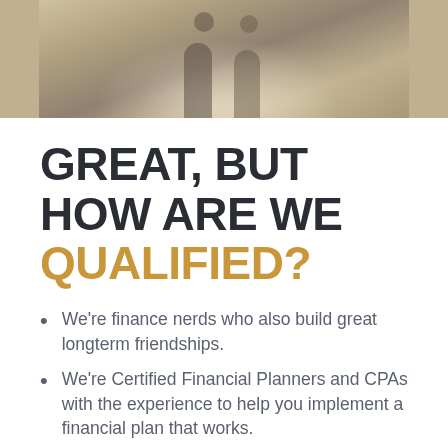[Figure (photo): Two people outdoors at a historic or archaeological site, one wearing a camera around their neck, stone wall visible in the background]
GREAT, BUT HOW ARE WE QUALIFIED?
We're finance nerds who also build great longterm friendships.
We're Certified Financial Planners and CPAs with the experience to help you implement a financial plan that works.
This ain't our first rodeo. We love...